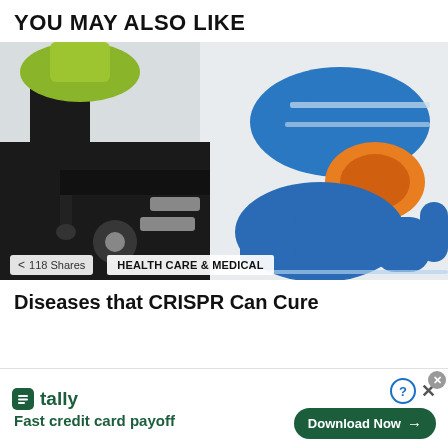YOU MAY ALSO LIKE
[Figure (photo): A researcher in blue gloves holding a microscope slide with an orange circular specimen next to a black microscope on a white surface.]
< 118 Shares   HEALTH CARE & MEDICAL
Diseases that CRISPR Can Cure
[Figure (screenshot): Advertisement banner for Tally app: 'Fast credit card payoff' with a Download Now button and close icons.]